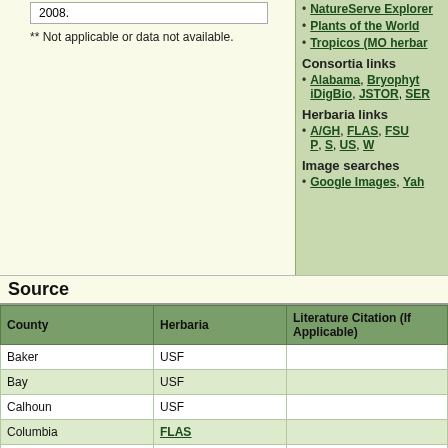2008.
** Not applicable or data not available.
NatureServe Explorer
Plants of the World
Tropicos (MO herbar...
Consortia links
Alabama, Bryophyt..., iDigBio, JSTOR, SER...
Herbaria links
A/GH, FLAS, FSU..., P, S, US, W
Image searches
Google Images, Yah...
Source
| County | Herbaria | Literature Citation (If Applicable) |
| --- | --- | --- |
| Baker | USF |  |
| Bay | USF |  |
| Calhoun | USF |  |
| Columbia | FLAS |  |
| Escambia | USF |  |
+ Expand All